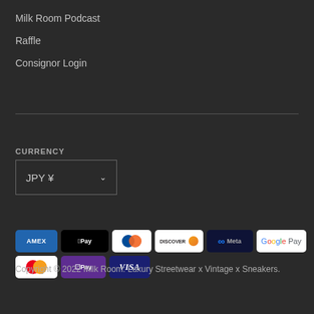Milk Room Podcast
Raffle
Consignor Login
CURRENCY
JPY ¥
[Figure (infographic): Payment method icons: American Express, Apple Pay, Diners Club, Discover, Meta Pay, Google Pay, Mastercard, Shop Pay, Visa]
Copyright © 2022 Milk Room: Luxury Streetwear x Vintage x Sneakers.